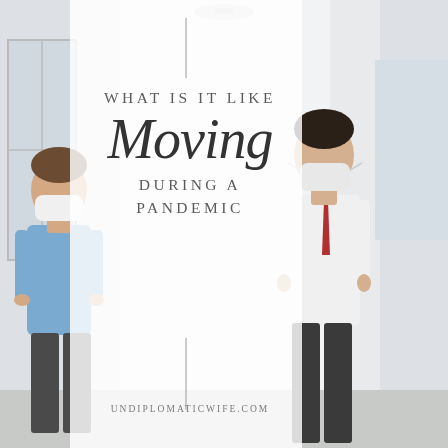[Figure (photo): Two men wearing face masks in a bright white interior room. Left man wears a blue shirt with hands on hips. Right man wears a white dress shirt with red tie, looking downward. A semi-transparent white vertical panel overlays the center of the image.]
WHAT IS IT LIKE Moving DURING A PANDEMIC
UNDIPLOMATICWIFE.COM